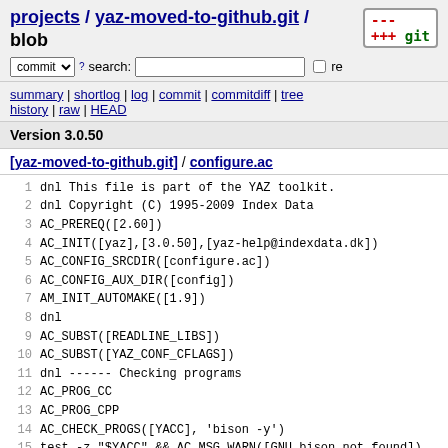projects / yaz-moved-to-github.git / blob
summary | shortlog | log | commit | commitdiff | tree history | raw | HEAD
Version 3.0.50
[yaz-moved-to-github.git] / configure.ac
1 dnl This file is part of the YAZ toolkit.
2 dnl Copyright (C) 1995-2009 Index Data
3 AC_PREREQ([2.60])
4 AC_INIT([yaz],[3.0.50],[yaz-help@indexdata.dk])
5 AC_CONFIG_SRCDIR([configure.ac])
6 AC_CONFIG_AUX_DIR([config])
7 AM_INIT_AUTOMAKE([1.9])
8 dnl
9 AC_SUBST([READLINE_LIBS])
10 AC_SUBST([YAZ_CONF_CFLAGS])
11 dnl ------ Checking programs
12 AC_PROG_CC
13 AC_PROG_CPP
14 AC_CHECK_PROGS([YACC], 'bison -y')
15 test -z "$YACC" && AC_MSG_WARN([GNU bison not found])
16 AC_CHECK_PROGS([TCLSH], [tclsh tclsh8.5 tclsh8.4 tclsh8
17 AC_PROG_INSTALL
18 AM_PROG_LIBTOOL
19 AC_PATH_PROG([pkgconfigpath],[pkg-config],[NONE])